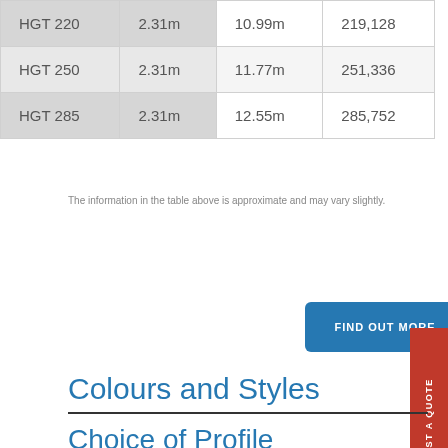| HGT 220 | 2.31m | 10.99m | 219,128 |
| HGT 250 | 2.31m | 11.77m | 251,336 |
| HGT 285 | 2.31m | 12.55m | 285,752 |
The information in the table above is approximate and may vary slightly.
Colours and Styles
Choice of Profile
Heritage Water Tanks is the only Australian manufacturer to offer a choice of streamline or